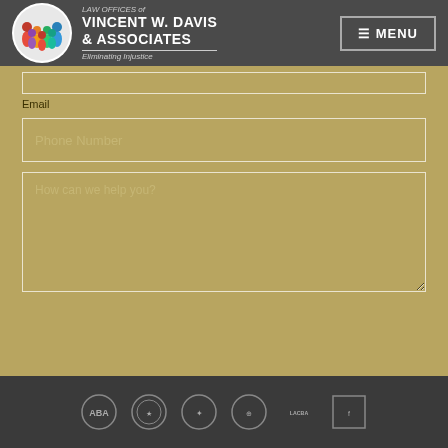LAW OFFICES of VINCENT W. DAVIS & ASSOCIATES — Eliminating Injustice | MENU
Email
Phone Number
How can we help you?
Send >
Accreditation badges
[Figure (logo): Law Offices of Vincent W. Davis & Associates logo with colorful figures circle icon and text 'Eliminating Injustice']